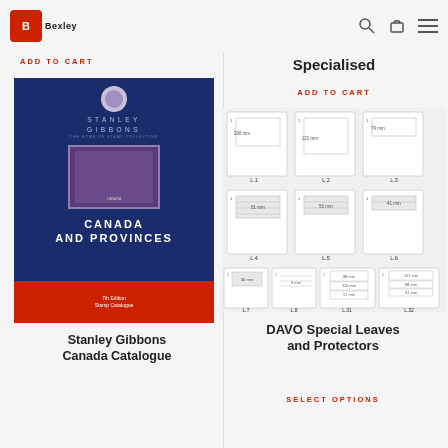Bexley — ADD TO CART (left) | Specialised ADD TO CART (right)
[Figure (photo): Stanley Gibbons Canada and Provinces 7th Edition Stamp Catalogue book cover — dark navy blue with crest, stamp image, and red band at bottom]
Stanley Gibbons Canada Catalogue
ADD TO CART
Specialised
ADD TO CART
[Figure (illustration): DAVO Special Leaves grid showing leaf size variants: L.1 (290mm), L.2 (121mm), L.3 (79mm), L.4 (81mm), L.5 (56mm), L.6 (41mm), L.7 (36mm), L.8 (9mm), L.31 (88mm/115mm/57mm), L.32 (121mm/88mm/41mm)]
DAVO Special Leaves and Protectors
SELECT OPTIONS